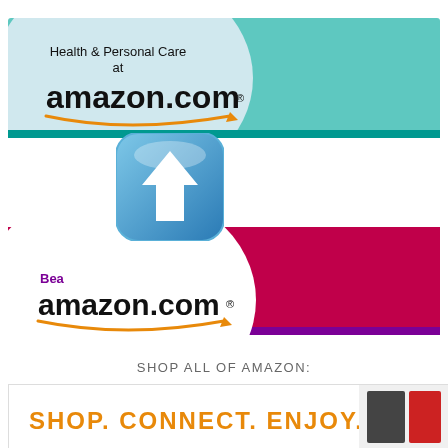[Figure (advertisement): Health & Personal Care at amazon.com banner with teal/mint background and circular white overlay]
[Figure (advertisement): Beauty at amazon.com banner with crimson background, white circle, and floating blue upload/up-arrow app icon overlay]
SHOP ALL OF AMAZON:
[Figure (advertisement): Shop. Connect. Enjoy. Amazon banner with orange text on white background and product images on right]